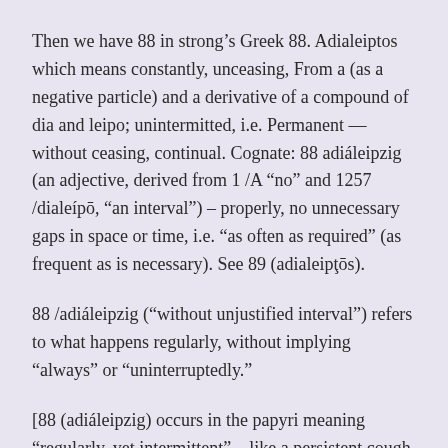Then we have 88 in strong’s Greek 88. Adialeiptos which means constantly, unceasing, From a (as a negative particle) and a derivative of a compound of dia and leipo; unintermitted, i.e. Permanent — without ceasing, continual. Cognate: 88 adiáleiptos (an adjective, derived from 1 /A “no” and 1257 /dialeípō, “an interval”) – properly, no unnecessary gaps in space or time, i.e. “as often as required” (as frequent as is necessary). See 89 (adialeipţōs).
88 /adiáleipzig (“without unjustified interval”) refers to what happens regularly, without implying “always” or “uninterruptedly.”
[88 (adiáleipzig) occurs in the papyri meaning “regularly, yet intermittent” – like a persistent cough